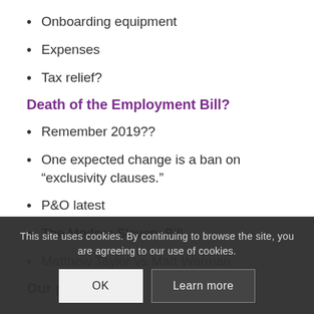Onboarding equipment
Expenses
Tax relief?
Death of the Employment Bill?
Remember 2019??
One expected change is a ban on “exclusivity clauses.”
P&O latest
The Modern Slavery Bill
Matthew Taylor vs Matt Warman
Our panellist
This site uses cookies. By continuing to browse the site, you are agreeing to our use of cookies.